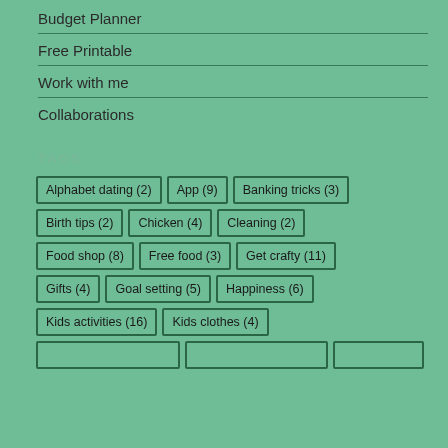Budget Planner
Free Printable
Work with me
Collaborations
TAGS
Alphabet dating (2) | App (9) | Banking tricks (3) | Birth tips (2) | Chicken (4) | Cleaning (2) | Food shop (8) | Free food (3) | Get crafty (11) | Gifts (4) | Goal setting (5) | Happiness (6) | Kids activities (16) | Kids clothes (4)